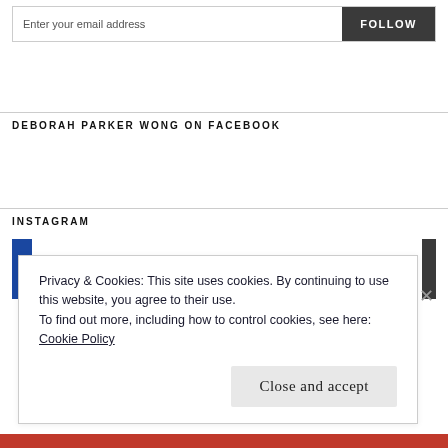Enter your email address
FOLLOW
DEBORAH PARKER WONG ON FACEBOOK
INSTAGRAM
Privacy & Cookies: This site uses cookies. By continuing to use this website, you agree to their use.
To find out more, including how to control cookies, see here:
Cookie Policy
Close and accept